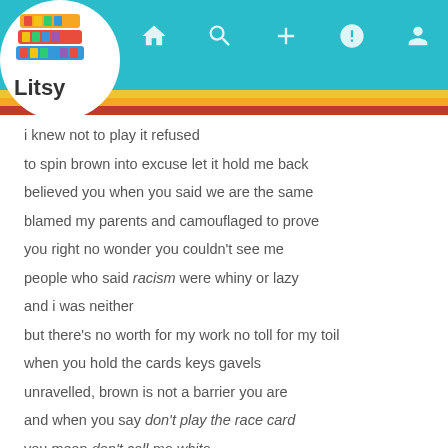[Figure (screenshot): Litsy app header with teal navigation bar, logo, and colored stripes]
i knew not to play it refused

to spin brown into excuse let it hold me back

believed you when you said we are the same

blamed my parents and camouflaged to prove

you right no wonder you couldn't see me

people who said racism were whiny or lazy

and i was neither

but there's no worth for my work no toll for my toil

when you hold the cards keys gavels

unravelled, brown is not a barrier you are

and when you say don't play the race card

you mean don't call me white.